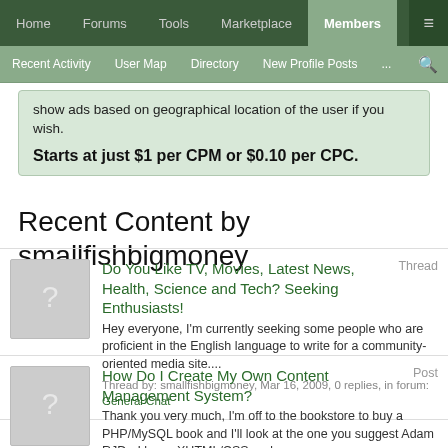Home | Forums | Tools | Marketplace | Members | ...
Recent Activity | User Map | Directory | New Profile Posts | ...
show ads based on geographical location of the user if you wish.
Starts at just $1 per CPM or $0.10 per CPC.
Recent Content by smallfishbigmoney
Do You Like TV, Movies, Latest News, Health, Science and Tech? Seeking Enthusiasts! Thread
Hey everyone, I'm currently seeking some people who are proficient in the English language to write for a community-oriented media site....
Thread by: smallfishbigmoney, Mar 16, 2009, 0 replies, in forum: General Chat
How Do I Create My Own Content Management System? Post
Thank you very much, I'm off to the bookstore to buy a PHP/MySQL book and I'll look at the one you suggest Adam RJD - I know XHTML/CSS and a...
Post by: smallfishbigmoney, Jan 13, 2009 in forum: Content Management